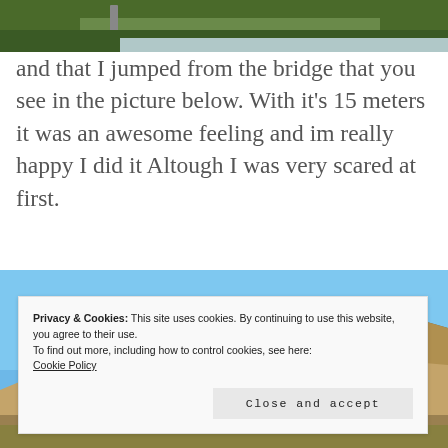[Figure (photo): Top portion of a photo showing green grass and a railing, cropped at top of page]
and that I jumped from the bridge that you see in the picture below. With it's 15 meters it was an awesome feeling and im really happy I did it Altough I was very scared at first.
[Figure (photo): Photo of a rocky hillside with sparse shrubs under a clear blue sky]
Privacy & Cookies: This site uses cookies. By continuing to use this website, you agree to their use.
To find out more, including how to control cookies, see here:
Cookie Policy
Close and accept